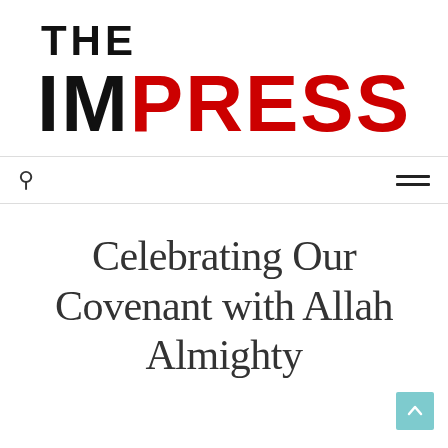[Figure (logo): The IMPress logo: 'THE' in black above 'IM' in black and 'PRESS' in red, bold sans-serif font]
Search icon and hamburger menu navigation bar
Celebrating Our Covenant with Allah Almighty